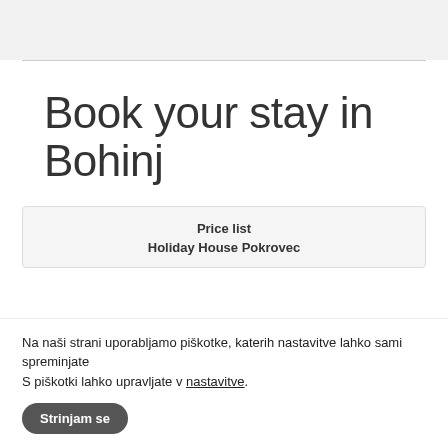Book your stay in Bohinj
| Price list |
| Holiday House Pokrovec |
Na naši strani uporabljamo piškotke, katerih nastavitve lahko sami spreminjate
S piškotki lahko upravljate v nastavitve.
Strinjam se